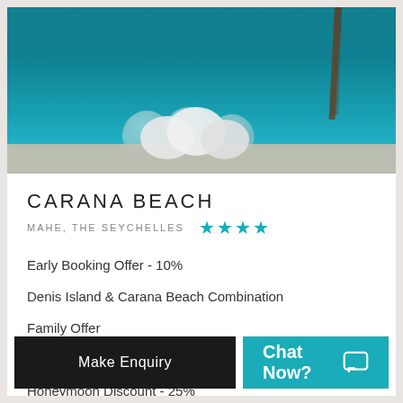[Figure (photo): Hotel hero image showing white sea urchin shells on a stone ledge with turquoise ocean and palm tree in background]
CARANA BEACH
MAHE, THE SEYCHELLES ★★★★
Early Booking Offer - 10%
Denis Island & Carana Beach Combination
Family Offer
Long Stay Offer - 10%
Honeymoon Discount - 25%
Make Enquiry
Chat Now?